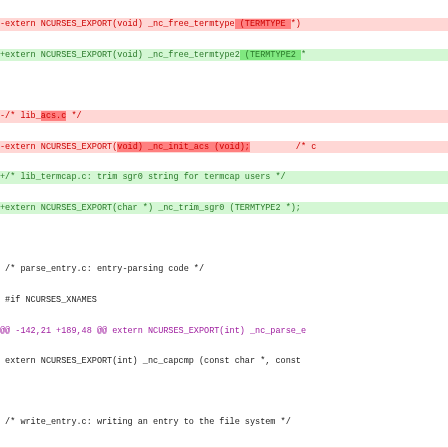[Figure (screenshot): Diff/patch view of C header file changes showing removed lines in red and added lines in green, with context lines in white. Shows changes to ncurses library exports including free_termtype, lib_acs.c, lib_termcap.c, parse_entry.c, write_entry.c, comp_parse.c and trace_xnames.c sections.]